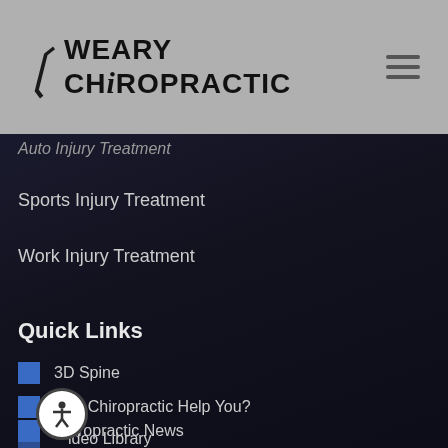[Figure (logo): Weary Chiropractic logo with stylized curl and bold text]
Auto Injury Treatment
Sports Injury Treatment
Work Injury Treatment
Quick Links
3D Spine
Can Chiropractic Help You?
Chiropractic News
Video Library